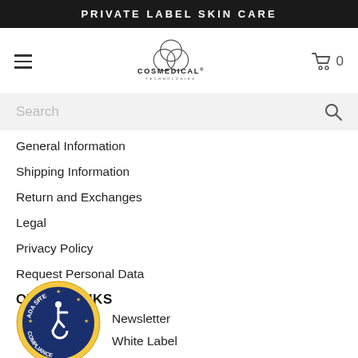PRIVATE LABEL SKIN CARE
[Figure (logo): COSMEDICAL TECHNOLOGIES logo with interlocking circles above the text]
[Figure (illustration): Shopping cart icon with 0 items]
Search
General Information
Shipping Information
Return and Exchanges
Legal
Privacy Policy
Request Personal Data
OTHER LINKS
Newsletter
White Label
Private Label Products
[Figure (logo): ADA Site Compliance badge — circular blue and gold badge with wheelchair accessibility symbol in center and text ADA SITE COMPLIANCE around it]